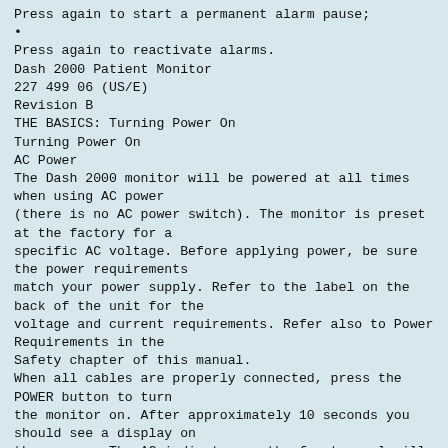Press again to start a permanent alarm pause;
•
Press again to reactivate alarms.
Dash 2000 Patient Monitor
227 499 06 (US/E)
Revision B
THE BASICS: Turning Power On
Turning Power On
AC Power
The Dash 2000 monitor will be powered at all times when using AC power
(there is no AC power switch). The monitor is preset at the factory for a
specific AC voltage. Before applying power, be sure the power requirements
match your power supply. Refer to the label on the back of the unit for the
voltage and current requirements. Refer also to Power Requirements in the
Safety chapter of this manual.
When all cables are properly connected, press the POWER button to turn
the monitor on. After approximately 10 seconds you should see a display on
the screen. The AC indicator on the front panel will light when using AC
power.
Normal Mode
Two modes of operation are available when using AC power. The monitor
will enter "NORMAL" mode when plugged into AC power and the monitor
is turned ON. Normal mode operation provides all